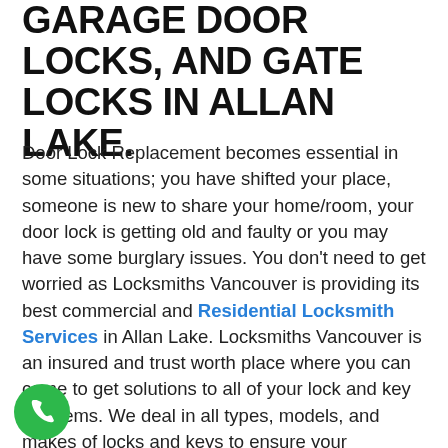GARAGE DOOR LOCKS, AND GATE LOCKS IN ALLAN LAKE.
Door Lock Replacement becomes essential in some situations; you have shifted your place, someone is new to share your home/room, your door lock is getting old and faulty or you may have some burglary issues. You don't need to get worried as Locksmiths Vancouver is providing its best commercial and Residential Locksmith Services in Allan Lake. Locksmiths Vancouver is an insured and trust worth place where you can come to get solutions to all of your lock and key problems. We deal in all types, models, and makes of locks and keys to ensure your satisfactory security at home and office as well. You can rely on Locksmiths Vancouver to make sure the security of you and your property rendering Door Lock Replacement